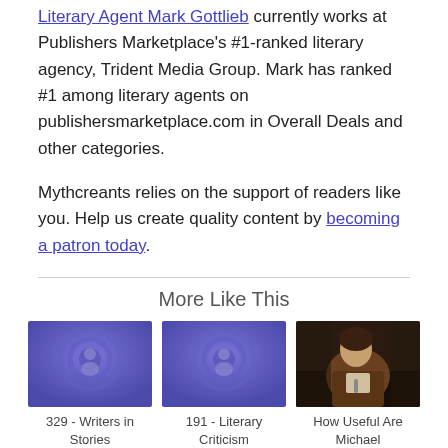Literary Agent Mark Gottlieb currently works at Publishers Marketplace's #1-ranked literary agency, Trident Media Group. Mark has ranked #1 among literary agents on publishersmarketplace.com in Overall Deals and other categories.
Mythcreants relies on the support of readers like you. Help us create quality content by becoming a patron today.
More Like This
[Figure (photo): Podcast thumbnail with purple gradient background and podcast icon (concentric circles with person silhouette)]
329 - Writers in Stories
[Figure (photo): Podcast thumbnail with purple gradient background and podcast icon (concentric circles with person silhouette)]
191 - Literary Criticism
[Figure (photo): Photo of a person (Michael) speaking at a panel event, wearing a brown jacket]
How Useful Are Michael